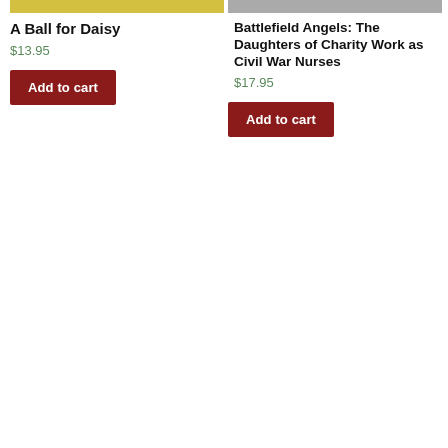[Figure (photo): Top portion of a book cover with yellow background]
A Ball for Daisy
$13.95
Add to cart
[Figure (photo): Top portion of a book cover with grey/metallic background]
Battlefield Angels: The Daughters of Charity Work as Civil War Nurses
$17.95
Add to cart